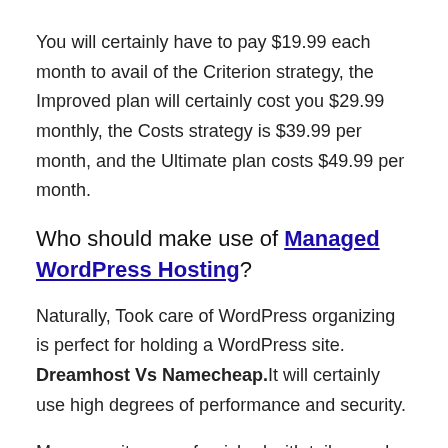You will certainly have to pay $19.99 each month to avail of the Criterion strategy, the Improved plan will certainly cost you $29.99 monthly, the Costs strategy is $39.99 per month, and the Ultimate plan costs $49.99 per month.
Who should make use of Managed WordPress Hosting?
Naturally, Took care of WordPress organizing is perfect for holding a WordPress site. Dreamhost Vs Namecheap.It will certainly use high degrees of performance and security.
Moreover, it comes furnished with tailor-made devices and progressed cPanel, making it very easy for you to manage your site.
You possibly won't need handled WordPress holding right away if you're simply starting your initial WordPress website. A basic